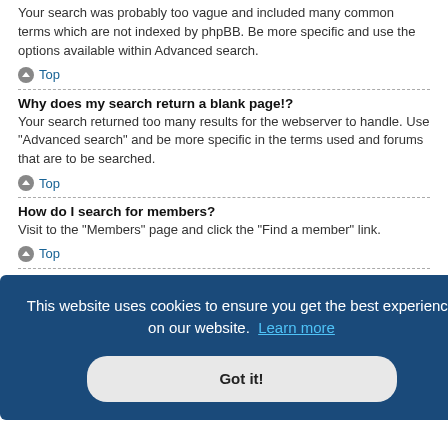Your search was probably too vague and included many common terms which are not indexed by phpBB. Be more specific and use the options available within Advanced search.
Top
Why does my search return a blank page!?
Your search returned too many results for the webserver to handle. Use "Advanced search" and be more specific in the terms used and forums that are to be searched.
Top
How do I search for members?
Visit to the "Members" page and click the "Find a member" link.
Top
...sts" link link via of the ll in the
Top
[Figure (infographic): Cookie consent banner with dark blue background. Text: 'This website uses cookies to ensure you get the best experience on our website. Learn more' and a 'Got it!' button.]